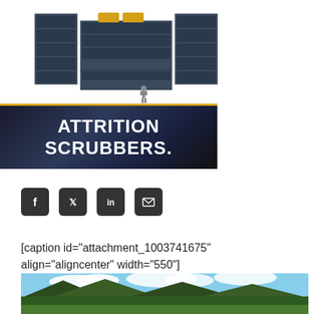[Figure (photo): 3D rendering of large industrial modular equipment stacked in a U-shape formation with a person figure for scale, yellow accents on top]
[Figure (illustration): Dark banner with gold top border reading ATTRITION SCRUBBERS in bold white text with dramatic background]
[Figure (infographic): Social media share icons: Facebook, Twitter, LinkedIn, Email in dark rounded square buttons]
[caption id="attachment_1003741675" align="aligncenter" width="550"]
[Figure (photo): Panoramic landscape photo of forested mountains under a partly cloudy sky, with a road visible in the foreground]